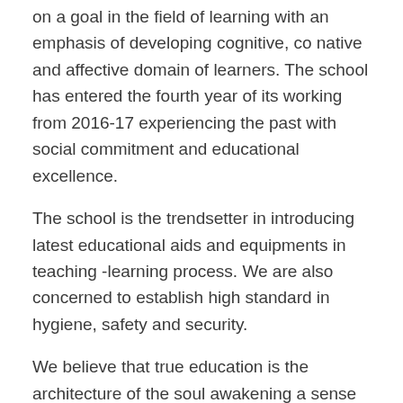on a goal in the field of learning with an emphasis of developing cognitive, co native and affective domain of learners. The school has entered the fourth year of its working from 2016-17 experiencing the past with social commitment and educational excellence.
The school is the trendsetter in introducing latest educational aids and equipments in teaching -learning process. We are also concerned to establish high standard in hygiene, safety and security.
We believe that true education is the architecture of the soul awakening a sense of undying curiosity and the desire to achieve our primary concern is to prepare and equip the children for citizenship of the country.
Along with academic pursuits, a child's communicative skills are honed through elocution, singing, extempore speech and drama. A child's aesthetic sense is nurtured through